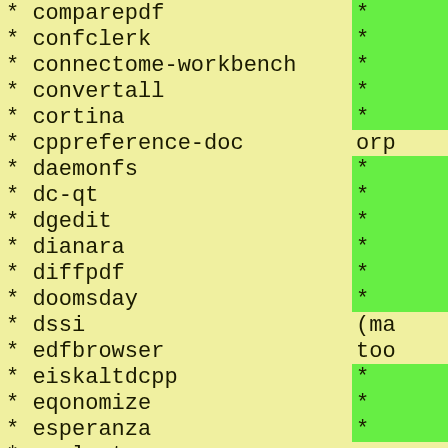* comparepdf
* confclerk
* connectome-workbench
* convertall
* cortina
* cppreference-doc
* daemonfs
* dc-qt
* dgedit
* dianara
* diffpdf
* doomsday
* dssi
* edfbrowser
* eiskaltdcpp
* eqonomize
* esperanza
* evolvotron
* faustworks